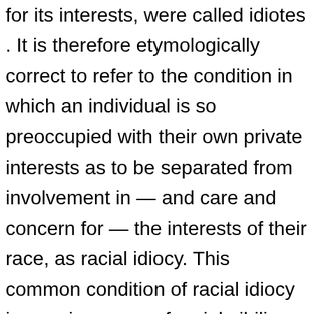for its interests, were called idiotes . It is therefore etymologically correct to refer to the condition in which an individual is so preoccupied with their own private interests as to be separated from involvement in — and care and concern for — the interests of their race, as racial idiocy. This common condition of racial idiocy is a major cause of racial nihilism, in both its active and passive forms. In a healthy culture racial idiocy would be regarded as dysfunctional, but in the present culture the dominant position of racial nihilism enables the racial idiot to enjoy the conceit of moral superiority over